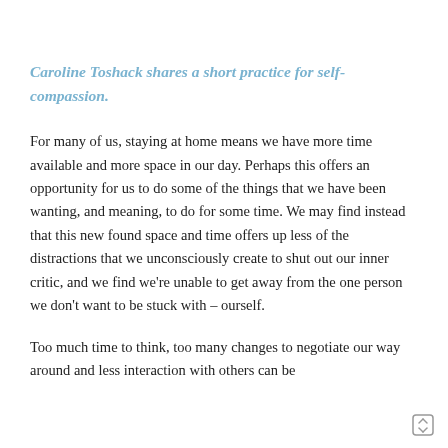Caroline Toshack shares a short practice for self-compassion.
For many of us, staying at home means we have more time available and more space in our day. Perhaps this offers an opportunity for us to do some of the things that we have been wanting, and meaning, to do for some time. We may find instead that this new found space and time offers up less of the distractions that we unconsciously create to shut out our inner critic, and we find we're unable to get away from the one person we don't want to be stuck with – ourself.
Too much time to think, too many changes to negotiate our way around and less interaction with others can be